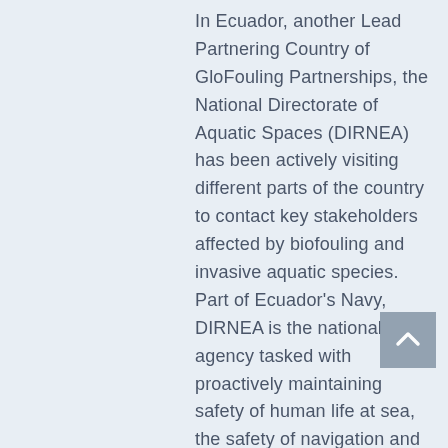In Ecuador, another Lead Partnering Country of GloFouling Partnerships, the National Directorate of Aquatic Spaces (DIRNEA) has been actively visiting different parts of the country to contact key stakeholders affected by biofouling and invasive aquatic species. Part of Ecuador's Navy, DIRNEA is the national agency tasked with proactively maintaining safety of human life at sea, the safety of navigation and the prevention of pollution. During the second half of 2020, a team from DIRNEA made field visits to the coastal provinces of Esmeraldas, El Oro and Santa Elena, where they interacted with aquaculture farming companies and visited scientists at the Centro Nacional de Acuicultura e